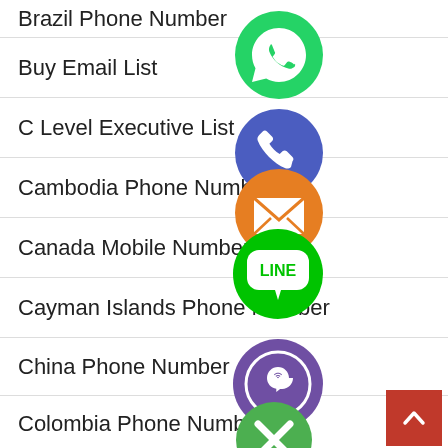Brazil Phone Number
Buy Email List
C Level Executive List
Cambodia Phone Number
Canada Mobile Number
Cayman Islands Phone Number
China Phone Number
Clipping Path Service
Colombia Phone Numbers